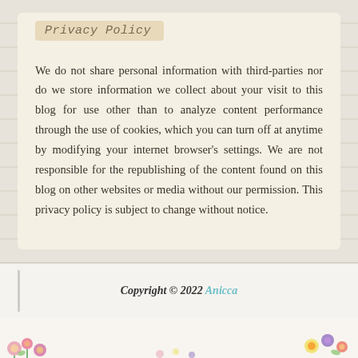Privacy Policy
We do not share personal information with third-parties nor do we store information we collect about your visit to this blog for use other than to analyze content performance through the use of cookies, which you can turn off at anytime by modifying your internet browser's settings. We are not responsible for the republishing of the content found on this blog on other websites or media without our permission. This privacy policy is subject to change without notice.
Copyright © 2022 Anicca